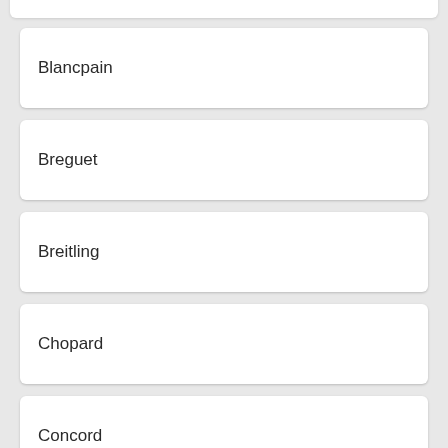Blancpain
Breguet
Breitling
Chopard
Concord
Graham
Hublot